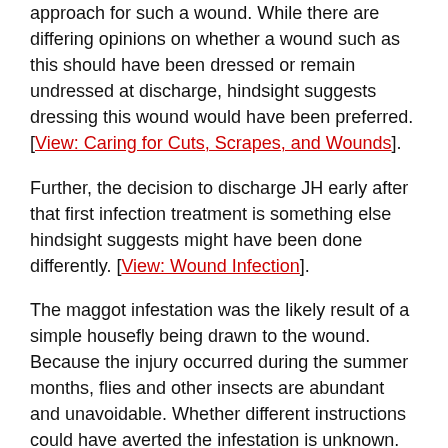approach for such a wound. While there are differing opinions on whether a wound such as this should have been dressed or remain undressed at discharge, hindsight suggests dressing this wound would have been preferred. [View: Caring for Cuts, Scrapes, and Wounds].
Further, the decision to discharge JH early after that first infection treatment is something else hindsight suggests might have been done differently. [View: Wound Infection].
The maggot infestation was the likely result of a simple housefly being drawn to the wound. Because the injury occurred during the summer months, flies and other insects are abundant and unavoidable. Whether different instructions could have averted the infestation is unknown.
At some point later in his healing, JH received a call from a senior executive of the hospital where he was first treated. The executive acknowledged JH's early release appeared to have been a mistake. In telling his story, JH wants to be clear that he is not calling out any individual or institution. He didn't like